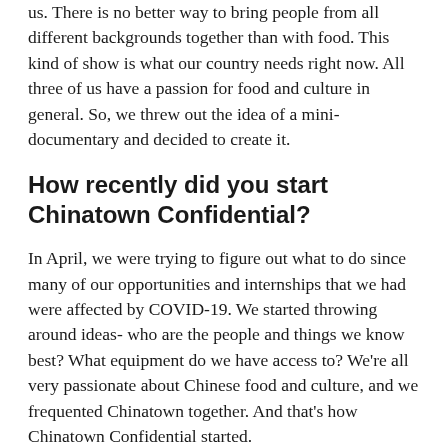us. There is no better way to bring people from all different backgrounds together than with food. This kind of show is what our country needs right now. All three of us have a passion for food and culture in general. So, we threw out the idea of a mini-documentary and decided to create it.
How recently did you start Chinatown Confidential?
In April, we were trying to figure out what to do since many of our opportunities and internships that we had were affected by COVID-19. We started throwing around ideas- who are the people and things we know best? What equipment do we have access to? We're all very passionate about Chinese food and culture, and we frequented Chinatown together. And that's how Chinatown Confidential started.